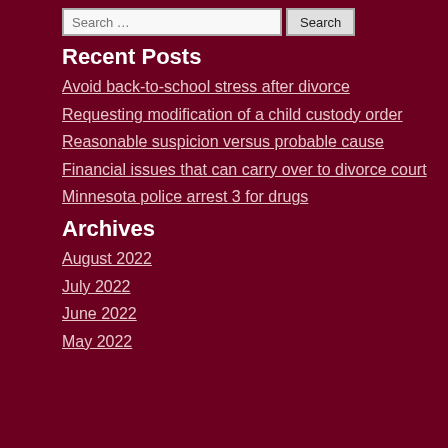Recent Posts
Avoid back-to-school stress after divorce
Requesting modification of a child custody order
Reasonable suspicion versus probable cause
Financial issues that can carry over to divorce court
Minnesota police arrest 3 for drugs
Archives
August 2022
July 2022
June 2022
May 2022